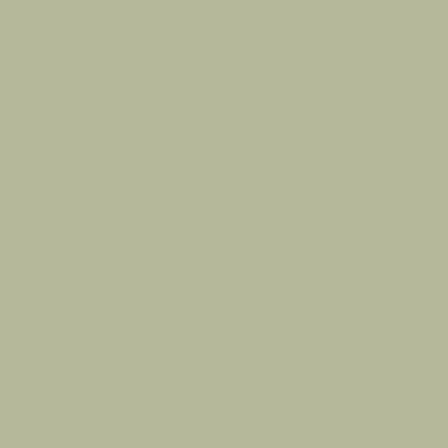as little as £1. The move, which could add a pound on to air fares, was greeted with delight by environmental groups who said it was a first
y 27, 2006
y 20, 2006
y 13, 2006
y 06, 2006
il 29, 2006
il 22, 2006
il 15, 2006
il 08, 2006
pril 01, 2006
March 25, 2006
March 18, 2006
March 11, 2006
- March 04, 2006
- February 25, 2006
- February 18, 2006
- February 11, 2006
February 04, 2006
January 28, 2006
January 21, 2006
January 14, 2006
January 07, 2006
5 - December 31,
5 - December 24,
5 - December 17,
5 - December 10,
5 - December 03,
5 - November 26,
5 - November 19,
5 - November 12,